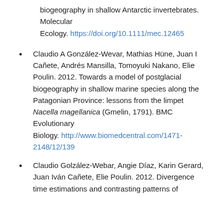biogeography in shallow Antarctic invertebrates. Molecular Ecology. https://doi.org/10.1111/mec.12465
Claudio A González-Wevar, Mathias Hüne, Juan I Cañete, Andrés Mansilla, Tomoyuki Nakano, Elie Poulin. 2012. Towards a model of postglacial biogeography in shallow marine species along the Patagonian Province: lessons from the limpet Nacella magellanica (Gmelin, 1791). BMC Evolutionary Biology. http://www.biomedcentral.com/1471-2148/12/139
Claudio Golzález-Webar, Angie Díaz, Karin Gerard, Juan Iván Cañete, Elie Poulin. 2012. Divergence time estimations and contrasting patterns of